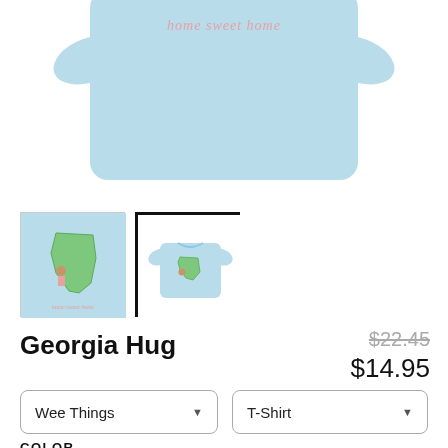[Figure (photo): Light blue t-shirt folded/laid flat with 'home sweet home' text in pink cursive script on top, partially cropped at top of page]
[Figure (photo): Thumbnail 1: light blue background with Georgia state outline in green and a girl figure; text 'home sweet home' below]
[Figure (photo): Thumbnail 2 (selected, black border): light blue t-shirt with Georgia hug graphic, currently selected view]
Georgia Hug
$22.45 (strikethrough original price) $14.95 (sale price)
Wee Things (dropdown)
T-Shirt (dropdown)
COLOR